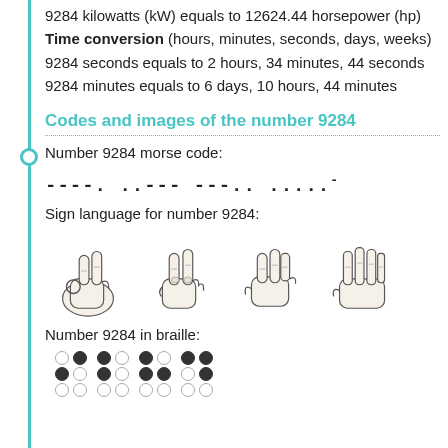9284 kilowatts (kW) equals to 12624.44 horsepower (hp)
Time conversion (hours, minutes, seconds, days, weeks)
9284 seconds equals to 2 hours, 34 minutes, 44 seconds
9284 minutes equals to 6 days, 10 hours, 44 minutes
Codes and images of the number 9284
Number 9284 morse code:
----. ..--- ---.. .....-
Sign language for number 9284:
[Figure (illustration): Four hand signs showing sign language digits for 9, 2, 8, 4]
Number 9284 in braille:
[Figure (illustration): Braille dots pattern for number 9284 — 3 rows of dots in a grid]